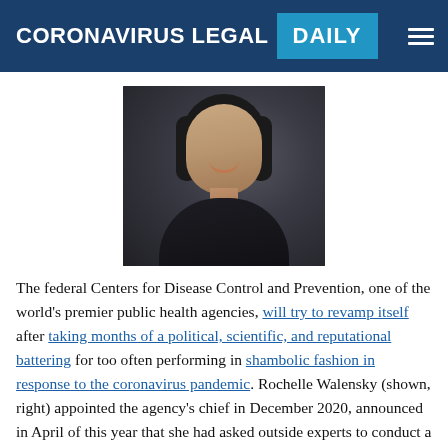CORONAVIRUS LEGAL DAILY
[Figure (photo): Portrait photo of Rochelle Walensky, a woman with dark hair, smiling, wearing a dark blazer, against a dark background.]
The federal Centers for Disease Control and Prevention, one of the world’s premier public health agencies, will try to revamp itself after taking months of a political, scientific, and reputational battering for too often performing in shambolic fashion in response to the coronavirus pandemic. Rochelle Walensky (shown, right) appointed the agency’s chief in December 2020, announced in April of this year that she had asked outside experts to conduct a top-to-bottom review of